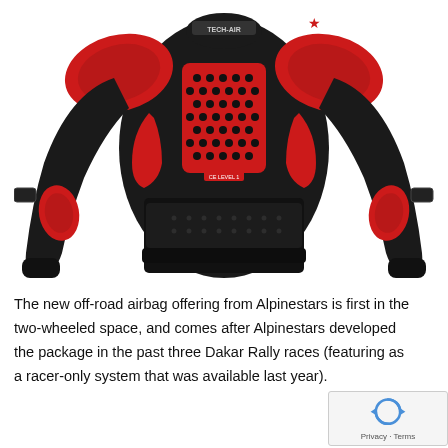[Figure (photo): Alpinestars Tech-Air off-road airbag body armor jacket in black and red, shown from the front on a mannequin. The jacket features red shoulder and elbow protectors, a honeycomb-patterned chest panel, red side panels, and adjustment straps at the waist and wrists.]
The new off-road airbag offering from Alpinestars is first in the two-wheeled space, and comes after Alpinestars developed the package in the past three Dakar Rally races (featuring as a racer-only system that was available last year).
Now coming as a protection jacket, the Alpinestars Tech-Air...